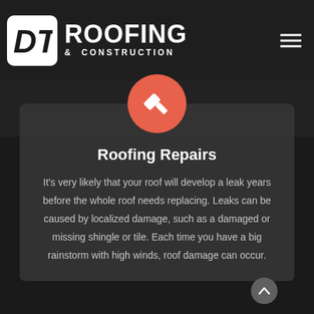[Figure (logo): DT Roofing & Construction logo with white rounded square icon containing DT letters, and text ROOFING & CONSTRUCTION to the right]
Roofing Repairs
It's very likely that your roof will develop a leak years before the whole roof needs replacing. Leaks can be caused by localized damage, such as a damaged or missing shingle or tile. Each time you have a big rainstorm with high winds, roof damage can occur.